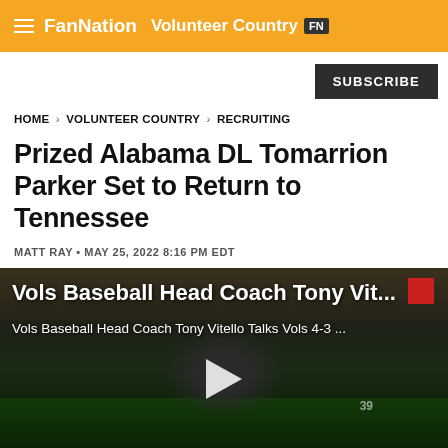FanNation Volunteer Country
SUBSCRIBE
HOME > VOLUNTEER COUNTRY > RECRUITING
Prized Alabama DL Tomarrion Parker Set to Return to Tennessee
MATT RAY • MAY 25, 2022 8:16 PM EDT
[Figure (screenshot): Video thumbnail showing a baseball coach being interviewed on the field. Video title overlay reads 'Vols Baseball Head Coach Tony Vit...' and subtitle 'Vols Baseball Head Coach Tony Vitello Talks Vols 4-3 ...' with a play button in the center.]